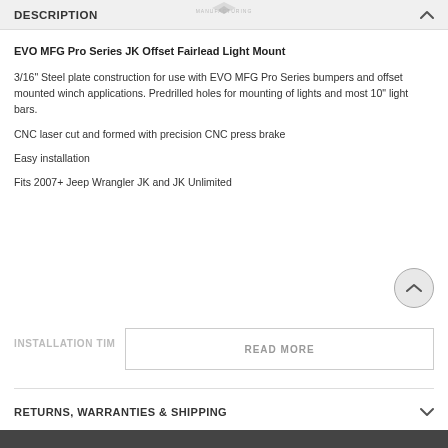DESCRIPTION
EVO MFG Pro Series JK Offset Fairlead Light Mount
3/16" Steel plate construction for use with EVO MFG Pro Series bumpers and offset mounted winch applications. Predrilled holes for mounting of lights and most 10" light bars.
CNC laser cut and formed with precision CNC press brake
Easy installation
Fits 2007+ Jeep Wrangler JK and JK Unlimited
INSTALLATION TIM
RETURNS, WARRANTIES & SHIPPING